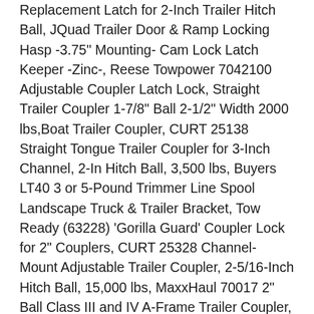Replacement Latch for 2-Inch Trailer Hitch Ball, JQuad Trailer Door & Ramp Locking Hasp -3.75" Mounting- Cam Lock Latch Keeper -Zinc-, Reese Towpower 7042100 Adjustable Coupler Latch Lock, Straight Trailer Coupler 1-7/8" Ball 2-1/2" Width 2000 lbs,Boat Trailer Coupler, CURT 25138 Straight Tongue Trailer Coupler for 3-Inch Channel, 2-In Hitch Ball, 3,500 lbs, Buyers LT40 3 or 5-Pound Trimmer Line Spool Landscape Truck & Trailer Bracket, Tow Ready (63228) ‘Gorilla Guard’ Coupler Lock for 2" Couplers, CURT 25328 Channel-Mount Adjustable Trailer Coupler, 2-5/16-Inch Hitch Ball, 15,000 lbs, MaxxHaul 70017 2" Ball Class III and IV A-Frame Trailer Coupler, CURT 25200 Black A-Frame Trailer Coupler, 2-5/16-Inch Hitch Ball, 10,000 lbs, CURT 23081 Powder-Coated Aluminum Trailer Tongue Lock, 2 or 2-5/16-Inch Couplers, CURT 22325 Anti-Rattle Hitch Clamp Tightener for 2-Inch Receiver, Hollow or Solid Shanks, Trimax TMC10 Coupler/Door Latch Lock (fits couplers to